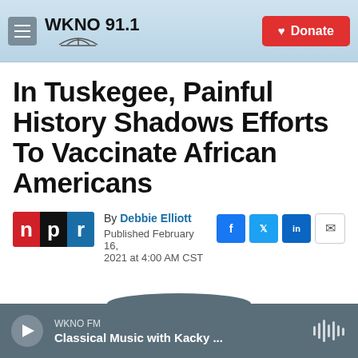WKNO 91.1 | Donate
In Tuskegee, Painful History Shadows Efforts To Vaccinate African Americans
By Debbie Elliott
Published February 16, 2021 at 4:00 AM CST
WKNO FM · Classical Music with Kacky ...